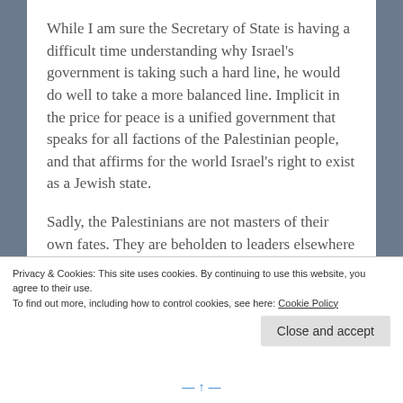While I am sure the Secretary of State is having a difficult time understanding why Israel's government is taking such a hard line, he would do well to take a more balanced line. Implicit in the price for peace is a unified government that speaks for all factions of the Palestinian people, and that affirms for the world Israel's right to exist as a Jewish state.

Sadly, the Palestinians are not masters of their own fates. They are beholden to leaders elsewhere in the world who seek to see Israel wiped off the map, and every Jew in the country either dead or in headlong flight, and to them, the lives of a few million Palestinians is a small price to pay.
Privacy & Cookies: This site uses cookies. By continuing to use this website, you agree to their use.
To find out more, including how to control cookies, see here: Cookie Policy